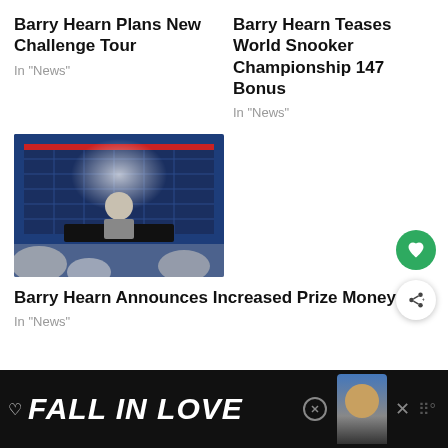Barry Hearn Plans New Challenge Tour
In "News"
Barry Hearn Teases World Snooker Championship 147 Bonus
In "News"
[Figure (photo): Press conference scene: a man in a suit at a podium with a branded backdrop, audience members visible in foreground]
Barry Hearn Announces Increased Prize Money
In "News"
[Figure (infographic): Advertisement banner reading FALL IN LOVE with a dog wearing headphones on a dark background]